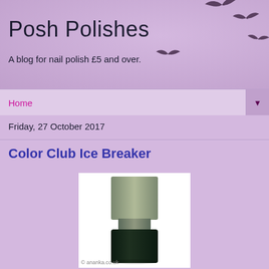Posh Polishes
A blog for nail polish £5 and over.
Home ▼
Friday, 27 October 2017
Color Club Ice Breaker
[Figure (photo): A nail polish bottle with a silver/olive cap and dark body, watermarked © ananka.co.uk]